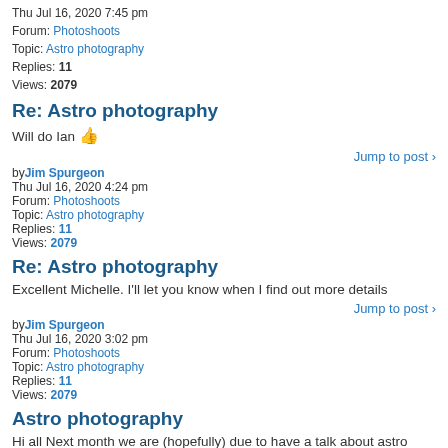Thu Jul 16, 2020 7:45 pm
Forum: Photoshoots
Topic: Astro photography
Replies: 11
Views: 2079
Re: Astro photography
Will do Ian 👍
Jump to post >
by Jim Spurgeon
Thu Jul 16, 2020 4:24 pm
Forum: Photoshoots
Topic: Astro photography
Replies: 11
Views: 2079
Re: Astro photography
Excellent Michelle. I'll let you know when I find out more details
Jump to post >
by Jim Spurgeon
Thu Jul 16, 2020 3:02 pm
Forum: Photoshoots
Topic: Astro photography
Replies: 11
Views: 2079
Astro photography
Hi all Next month we are (hopefully) due to have a talk about astro photography and looking at the program we are then due to show astro